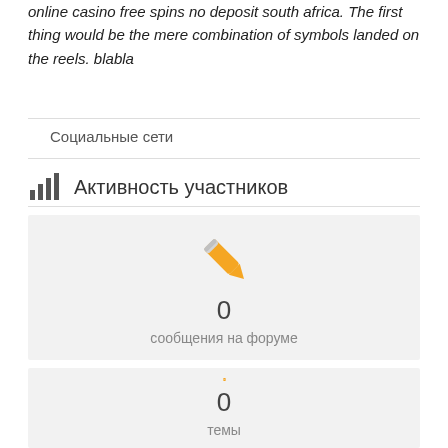online casino free spins no deposit south africa. The first thing would be the mere combination of symbols landed on the reels. blabla
Социальные сети
Активность участников
[Figure (infographic): Orange pencil icon with count 0 and label сообщения на форуме]
[Figure (infographic): Orange document/file icon with count 0 and label темы]